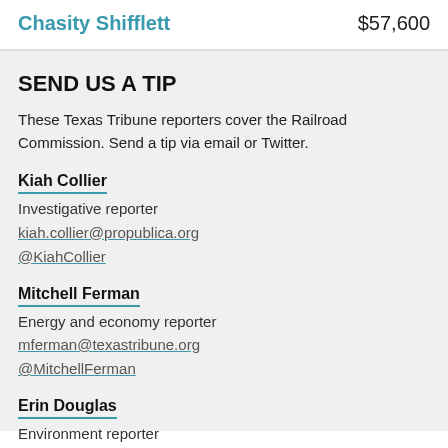Chasity Shifflett   $57,600
SEND US A TIP
These Texas Tribune reporters cover the Railroad Commission. Send a tip via email or Twitter.
Kiah Collier
Investigative reporter
kiah.collier@propublica.org
@KiahCollier
Mitchell Ferman
Energy and economy reporter
mferman@texastribune.org
@MitchellFerman
Erin Douglas
Environment reporter
edouglas@texastribune.org
@erindouglas??